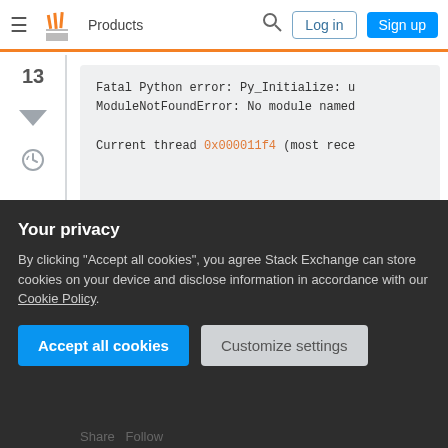Stack Overflow navigation: hamburger menu, logo, Products, search, Log in, Sign up
13
[Figure (screenshot): Code block showing: Fatal Python error: Py_Initialize: u
ModuleNotFoundError: No module named

Current thread 0x000011f4 (most rece]
I have installed python 2.7(uninstalled now), and I checked "Add Python to environment variables in Advanced Options" while installing python 3.6. It comes out that the Environment Variable "PYTHONHOME" and "PYTHONPATH" is still
Your privacy
By clicking "Accept all cookies", you agree Stack Exchange can store cookies on your device and disclose information in accordance with our Cookie Policy.
Accept all cookies  Customize settings
Share  Follow